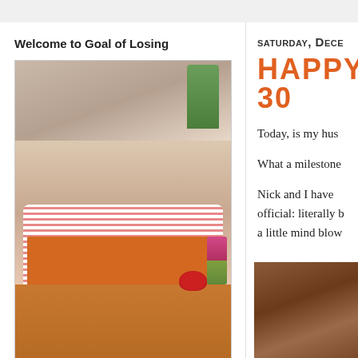Welcome to Goal of Losing
[Figure (photo): Woman in red-and-white striped shirt cutting red peppers on an orange cutting board, with tulips in background]
Hi! I'm Kalyn but, feel free to call me Kay. Titled from my goal of losing 100 pounds, this blog is filled with simple recipes, healthy living tips and updates from my every day journey of
saturday, Dece
HaPPY 30
Today, is my hus
What a milestone
Nick and I have official: literally b a little mind blow
[Figure (photo): Partial photo visible in bottom right corner]